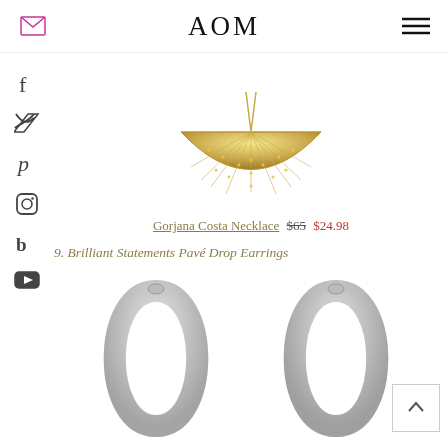AOM
[Figure (photo): Gold half-circle studded/pave necklace pendant, cropped at top]
Gorjana Costa Necklace $65 $24.98
9. Brilliant Statements Pavé Drop Earrings
[Figure (photo): Two silver hoop/huggie earrings on white background]